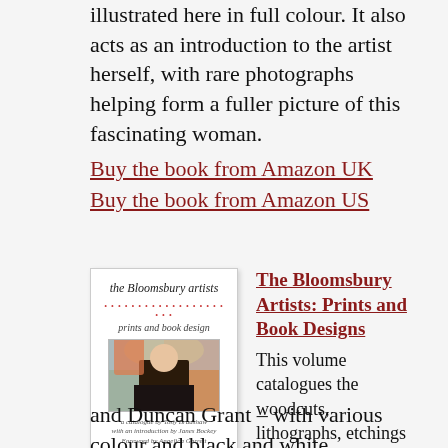illustrated here in full colour. It also acts as an introduction to the artist herself, with rare photographs helping form a fuller picture of this fascinating woman.
Buy the book from Amazon UK
Buy the book from Amazon US
[Figure (illustration): Book cover of 'The Bloomsbury Artists: Prints and Book Designs' showing an Art Deco style illustration of a figure in an interior with decorative background]
The Bloomsbury Artists: Prints and Book Designs
This volume catalogues the woodcuts, lithographs, etchings and other prints created by Vanessa Bell, Dora Carrington, Roger Fry and Duncan Grant – with various colour and black and white reproductions. Of particular interest are the many book jackets designed